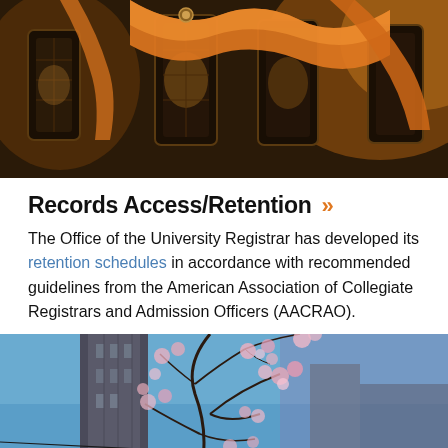[Figure (photo): Photo of decorative dark lanterns with orange fabric/ribbon draped over them, warm bokeh background]
Records Access/Retention »
The Office of the University Registrar has developed its retention schedules in accordance with recommended guidelines from the American Association of Collegiate Registrars and Admission Officers (AACRAO).
[Figure (photo): Photo of a tall university building or cathedral tower with cherry blossom trees in the foreground against a blue sky]